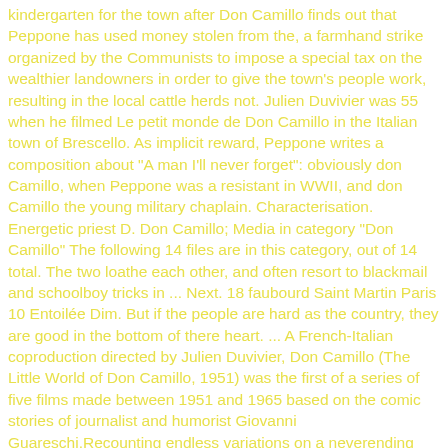kindergarten for the town after Don Camillo finds out that Peppone has used money stolen from the, a farmhand strike organized by the Communists to impose a special tax on the wealthier landowners in order to give the town's people work, resulting in the local cattle herds not. Julien Duvivier was 55 when he filmed Le petit monde de Don Camillo in the Italian town of Brescello. As implicit reward, Peppone writes a composition about "A man I'll never forget": obviously don Camillo, when Peppone was a resistant in WWII, and don Camillo the young military chaplain. Characterisation. Energetic priest D. Don Camillo; Media in category "Don Camillo" The following 14 files are in this category, out of 14 total. The two loathe each other, and often resort to blackmail and schoolboy tricks in ... Next. 18 faubourd Saint Martin Paris 10 Entoilée Dim. But if the people are hard as the country, they are good in the bottom of there heart. ... A French-Italian coproduction directed by Julien Duvivier, Don Camillo (The Little World of Don Camillo, 1951) was the first of a series of five films made between 1951 and 1965 based on the comic stories of journalist and humorist Giovanni Guareschi.Recounting endless variations on a neverending tussle in a small town in the Po Valley between the hotheaded but ... This film was a smash hit in France and Italy and it is easy to see why. Coffret Don Camillo 8 DVD : L'Intégrale - 6 films 4.5 out of 5 stars 50. Don Camillo zajedno s Pepponeom, jedna od glavnih figura nekoliko romana talijanskog pisca Giovannina Guereschia.Oni zajedno opisuju